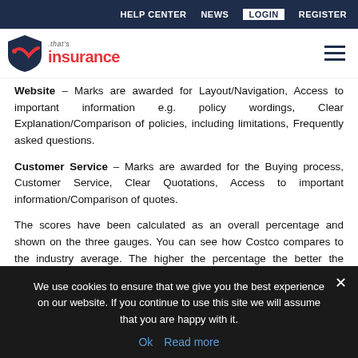HELP CENTER  NEWS  LOGIN  REGISTER
[Figure (logo): That's Insurance logo with shield graphic]
Website – Marks are awarded for Layout/Navigation, Access to important information e.g. policy wordings, Clear Explanation/Comparison of policies, including limitations, Frequently asked questions.
Customer Service – Marks are awarded for the Buying process, Customer Service, Clear Quotations, Access to important information/Comparison of quotes.
The scores have been calculated as an overall percentage and shown on the three gauges. You can see how Costco compares to the industry average. The higher the percentage the better the company performs in each
We use cookies to ensure that we give you the best experience on our website. If you continue to use this site we will assume that you are happy with it.
Ok  Read more